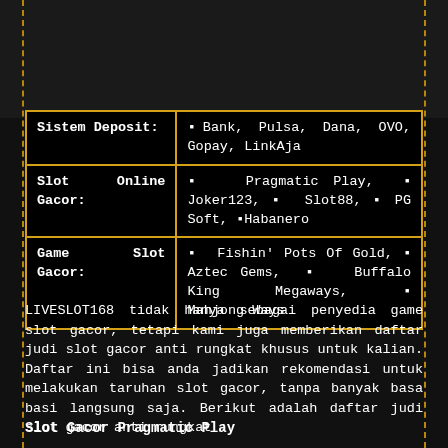| Label | Value |
| --- | --- |
| Sistem Deposit: | 🔸Bank, Pulsa, Dana, OVO, Gopay, LinkAja |
| Slot Online Gacor: | 🔸 Pragmatic Play, 🔸 Joker123, 🔸 Slot88, 🔸 PG Soft, 🔸Habanero |
| Game Slot Gacor: | 🔸 Fishin' Pots Of Gold, 🔸 Aztec Gems, 🔸 Buffalo King Megaways, 🔸 Mahjong Ways |
LIVESLOT168 tidak hanya sebagai penyedia game slot gacor, tetapi kami juga memberikan daftar judi slot gacor anti rungkat khusus untuk kalian. Daftar ini bisa anda jadikan rekomendasi untuk melakukan taruhan slot gacor, tanpa banyak basa basi langsung saja. Berikut adalah daftar judi slot gacor anti rungkat :
Slot Gacor Pragmatic Play